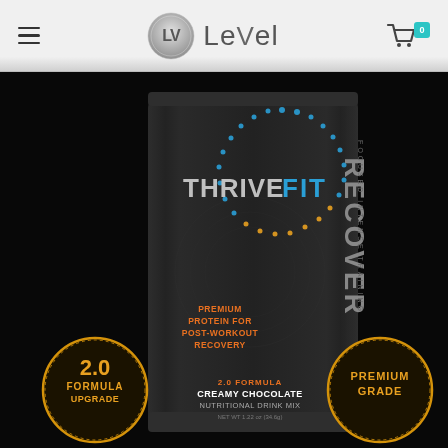Le-Vel navigation header with logo and cart
[Figure (photo): THRIVE FIT RECOVER product packet — black matte pouch with THRIVE FIT branding in large letters, FIT in blue/yellow dotted circle, RECOVER in vertical orange/grey text, 'Premium Protein for Post-Workout Recovery' text, 2.0 Formula Creamy Chocolate Nutritional Drink Mix, with a '2.0 Formula Upgrade' badge on the left and 'Premium Grade' badge on the right, on a black background]